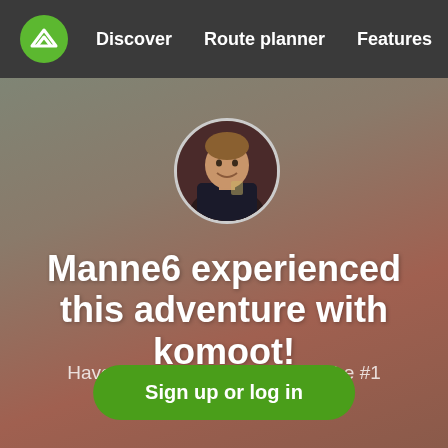Discover   Route planner   Features
[Figure (photo): Circular profile photo of a young man smiling, wearing a dark jacket, photographed in a dimly lit setting.]
Manne6 experienced this adventure with komoot!
Have your own adventure with the #1 outdoor app today.
Sign up or log in